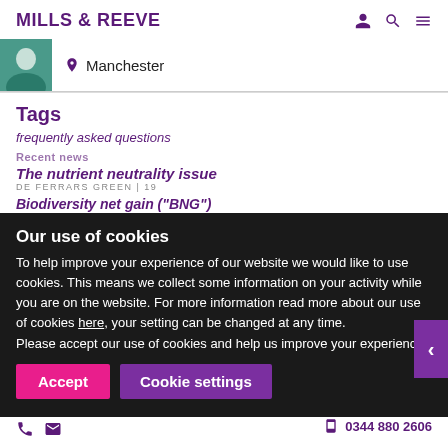MILLS & REEVE
Manchester
Tags
frequently asked questions
Recent news
The nutrient neutrality issue
DE FERRARS GREEN | 19
Biodiversity net gain ("BNG")
Our use of cookies
To help improve your experience of our website we would like to use cookies. This means we collect some information on your activity while you are on the website. For more information read more about our use of cookies here, your setting can be changed at any time.
Please accept our use of cookies and help us improve your experience.
Accept
Cookie settings
0344 880 2606